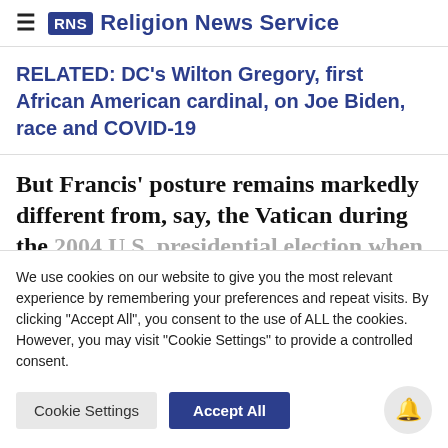RNS Religion News Service
RELATED: DC's Wilton Gregory, first African American cardinal, on Joe Biden, race and COVID-19
But Francis' posture remains markedly different from, say, the Vatican during the 2004 U.S. presidential election when some
We use cookies on our website to give you the most relevant experience by remembering your preferences and repeat visits. By clicking "Accept All", you consent to the use of ALL the cookies. However, you may visit "Cookie Settings" to provide a controlled consent.